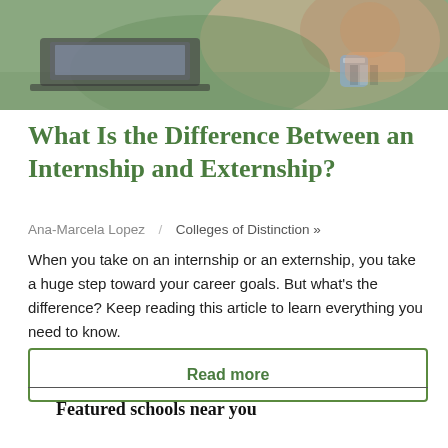[Figure (photo): Students working at laptops on a desk, background photo for article header]
What Is the Difference Between an Internship and Externship?
Ana-Marcela Lopez  /  Colleges of Distinction »
When you take on an internship or an externship, you take a huge step toward your career goals. But what's the difference? Keep reading this article to learn everything you need to know.
Read more
Featured schools near you